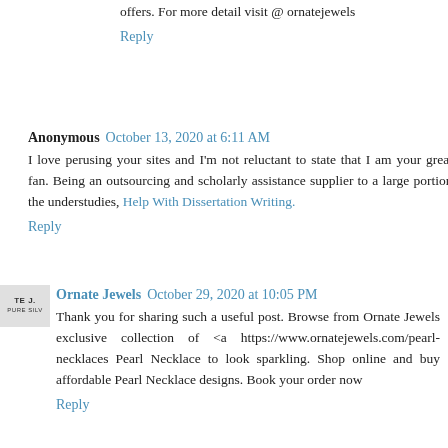offers. For more detail visit @ ornatejewels
Reply
Anonymous  October 13, 2020 at 6:11 AM
I love perusing your sites and I'm not reluctant to state that I am your greatest fan. Being an outsourcing and scholarly assistance supplier to a large portion of the understudies, Help With Dissertation Writing.
Reply
Ornate Jewels  October 29, 2020 at 10:05 PM
Thank you for sharing such a useful post. Browse from Ornate Jewels exclusive collection of <a https://www.ornatejewels.com/pearl-necklaces Pearl Necklace to look sparkling. Shop online and buy affordable Pearl Necklace designs. Book your order now
Reply